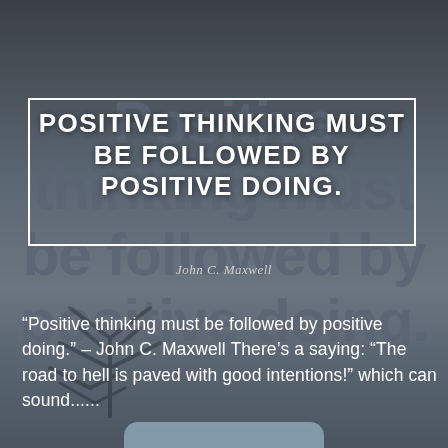[Figure (illustration): Motivational quote image with dark blueish-grey background showing large faded text 'Positive thinking must be followed by positive doing.' A white-bordered box overlays the top portion containing the quote in bold white uppercase text. Attribution 'John C. Maxwell' appears below the box. A tree silhouette is faintly visible at the bottom.]
POSITIVE THINKING MUST BE FOLLOWED BY POSITIVE DOING.
John C. Maxwell
“Positive thinking must be followed by positive doing.” – John C. Maxwell There’s a saying: “The road to hell is paved with good intentions!” which can sound.......